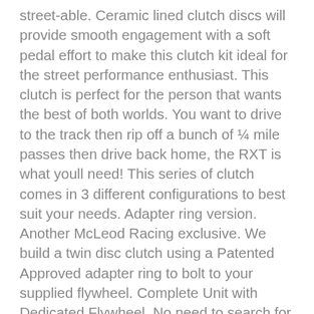street-able. Ceramic lined clutch discs will provide smooth engagement with a soft pedal effort to make this clutch kit ideal for the street performance enthusiast. This clutch is perfect for the person that wants the best of both worlds. You want to drive to the track then rip off a bunch of ¼ mile passes then drive back home, the RXT is what youll need! This series of clutch comes in 3 different configurations to best suit your needs. Adapter ring version. Another McLeod Racing exclusive. We build a twin disc clutch using a Patented Approved adapter ring to bolt to your supplied flywheel. Complete Unit with Dedicated Flywheel. No need to search for the clutch as one number and the flywheel as another number. McLeod Racing has you covered with one part number and a complete dedicated unit ready to plug and play. You have the choice of running a Billet Steel flywheel for your street applications or a Billet Aluminum flywheel for your track cars.